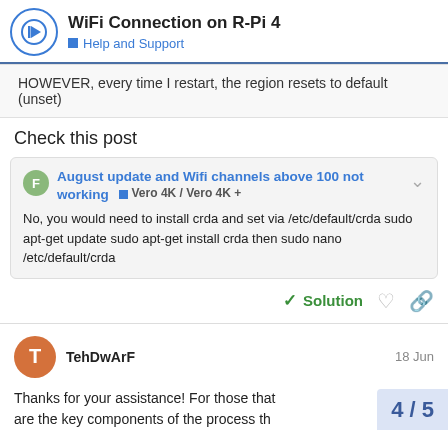WiFi Connection on R-Pi 4 | Help and Support
HOWEVER, every time I restart, the region resets to default (unset)
Check this post
August update and Wifi channels above 100 not working – Vero 4K / Vero 4K +
No, you would need to install crda and set via /etc/default/crda sudo apt-get update sudo apt-get install crda then sudo nano /etc/default/crda
Solution
TehDwArF  18 Jun
Thanks for your assistance! For those that are the key components of the process th